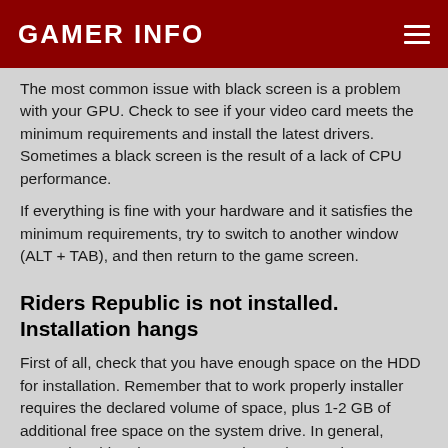GAMER INFO
The most common issue with black screen is a problem with your GPU. Check to see if your video card meets the minimum requirements and install the latest drivers. Sometimes a black screen is the result of a lack of CPU performance.
If everything is fine with your hardware and it satisfies the minimum requirements, try to switch to another window (ALT + TAB), and then return to the game screen.
Riders Republic is not installed. Installation hangs
First of all, check that you have enough space on the HDD for installation. Remember that to work properly installer requires the declared volume of space, plus 1-2 GB of additional free space on the system drive. In general, remember this rule – you must always have at least 2 gigabytes of free space on your system drive.